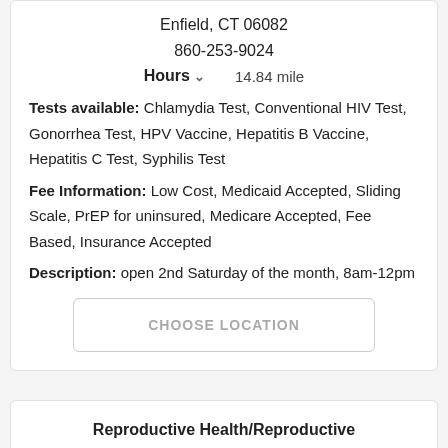Enfield, CT 06082
860-253-9024
Hours  14.84 mile
Tests available: Chlamydia Test, Conventional HIV Test, Gonorrhea Test, HPV Vaccine, Hepatitis B Vaccine, Hepatitis C Test, Syphilis Test
Fee Information: Low Cost, Medicaid Accepted, Sliding Scale, PrEP for uninsured, Medicare Accepted, Fee Based, Insurance Accepted
Description: open 2nd Saturday of the month, 8am-12pm
CHOOSE LOCATION
Reproductive Health/Reproductive